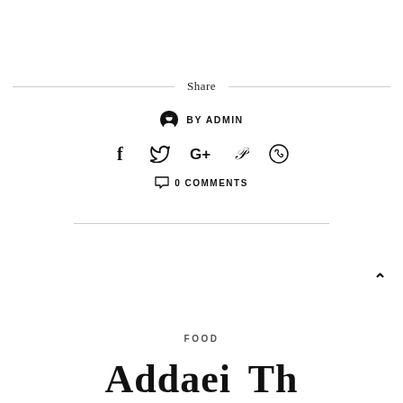Share
BY ADMIN
[Figure (other): Social sharing icons: Facebook, Twitter, Google+, Pinterest, WhatsApp]
0 COMMENTS
FOOD
Add aei... Th...